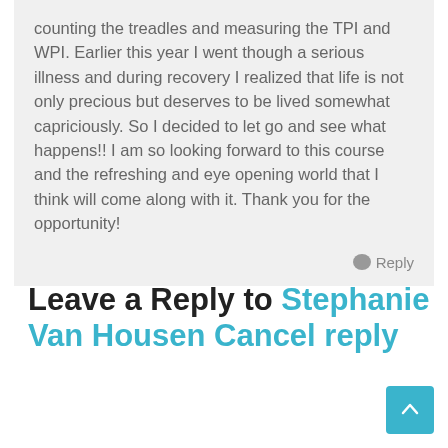counting the treadles and measuring the TPI and WPI. Earlier this year I went though a serious illness and during recovery I realized that life is not only precious but deserves to be lived somewhat capriciously. So I decided to let go and see what happens!! I am so looking forward to this course and the refreshing and eye opening world that I think will come along with it. Thank you for the opportunity!
Reply
Leave a Reply to Stephanie Van Housen   Cancel reply